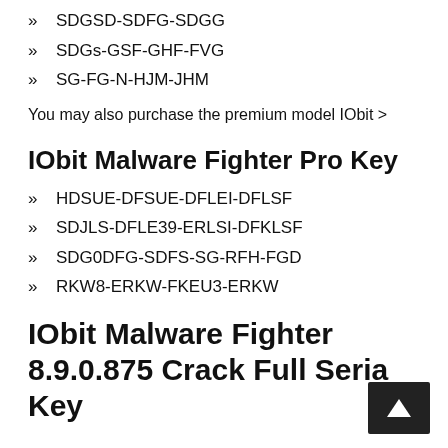SDGSD-SDFG-SDGG
SDGs-GSF-GHF-FVG
SG-FG-N-HJM-JHM
You may also purchase the premium model IObit >
IObit Malware Fighter Pro Key
HDSUE-DFSUE-DFLEI-DFLSF
SDJLS-DFLE39-ERLSI-DFKLSF
SDG0DFG-SDFS-SG-RFH-FGD
RKW8-ERKW-FKEU3-ERKW
IObit Malware Fighter 8.9.0.875 Crack Full Serial Key